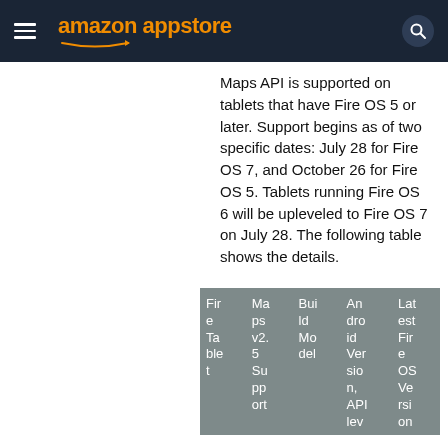amazon appstore
Maps API is supported on tablets that have Fire OS 5 or later. Support begins as of two specific dates: July 28 for Fire OS 7, and October 26 for Fire OS 5. Tablets running Fire OS 6 will be upleveled to Fire OS 7 on July 28. The following table shows the details.
| Fire Tablet | Maps v2.5 Support | Build Model | Android Version, API level | Latest Fire OS Version |
| --- | --- | --- | --- | --- |